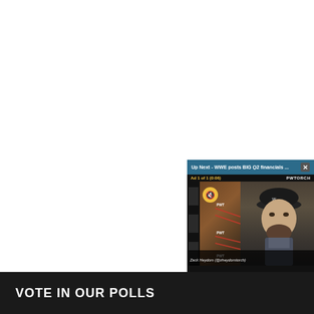[Figure (screenshot): Video player overlay showing 'Up Next - WWE posts BIG Q2 financials ...' with a close button (X), ad indicator 'Ad 1 of 1 (0:06)', PWTORCH branding, a muted yellow speaker icon button, wrestling ring background, a man wearing a cap, name caption 'Zack Heydom (@zheydorntorch)', and NEWSWIRE logo at bottom.]
VOTE IN OUR POLLS